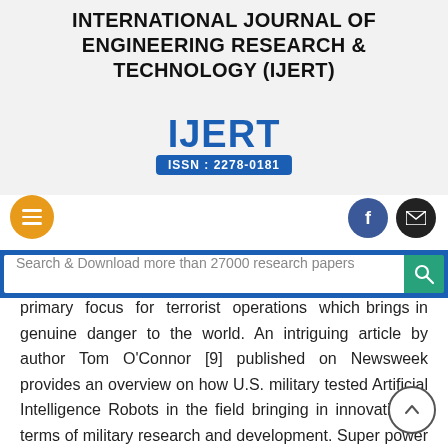INTERNATIONAL JOURNAL OF ENGINEERING RESEARCH & TECHNOLOGY (IJERT)
incredible renewable sources of energy which is cost-effective, less contaminating and much better than energy sources such as coal, petroleum, natural gas, etc.
[Figure (logo): IJERT logo with ISSN: 2278-0181, hamburger menu button, Facebook and email social icons]
Search & Download more than 27000 research papers
primary focus for terrorist operations which brings in genuine danger to the world. An intriguing article by author Tom O'Connor [9] published on Newsweek provides an overview on how U.S. military tested Artificial Intelligence Robots in the field bringing in innovation in terms of military research and development. Super power nations like USA, UK, China and so forth are already allocating funding levels to support AI